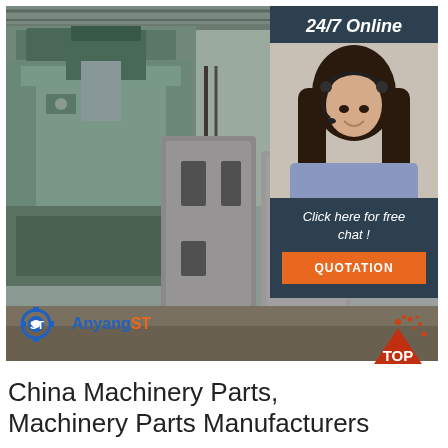[Figure (photo): Factory floor with heavy industrial machinery and large metal forged parts/castings in foreground, industrial building interior in background. Anyang ST logo in bottom-left of photo. Overlay panel top-right with '24/7 Online' text, customer service agent photo with headset, 'Click here for free chat!' text, and orange QUOTATION button.]
China Machinery Parts, Machinery Parts Manufacturers